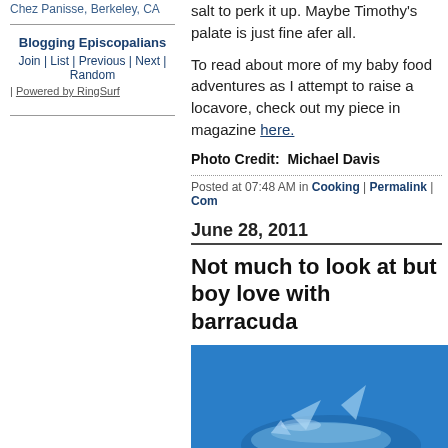Chez Panisse, Berkeley, CA
Blogging Episcopalians
Join | List | Previous | Next | Random | Powered by RingSurf
salt to perk it up. Maybe Timothy's palate is just fine afer all.
To read about more of my baby food adventures as I attempt to raise a locavore, check out my piece in magazine here.
Photo Credit:  Michael Davis
Posted at 07:48 AM in Cooking | Permalink | Com...
June 28, 2011
Not much to look at but boy love with barracuda
[Figure (photo): A barracuda fish photographed underwater against a blue background, showing its fin and body details.]